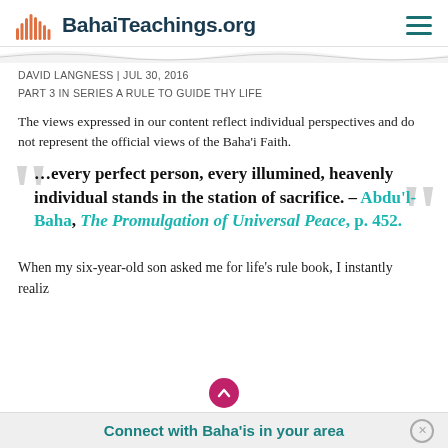BahaiTeachings.org
DAVID LANGNESS | JUL 30, 2016
PART 3 IN SERIES A RULE TO GUIDE THY LIFE
The views expressed in our content reflect individual perspectives and do not represent the official views of the Baha'i Faith.
…every perfect person, every illumined, heavenly individual stands in the station of sacrifice. – Abdu'l-Baha, The Promulgation of Universal Peace, p. 452.
When my six-year-old son asked me for life's rule book, I instantly realiz... that I had stumbled into
Connect with Baha'is in your area